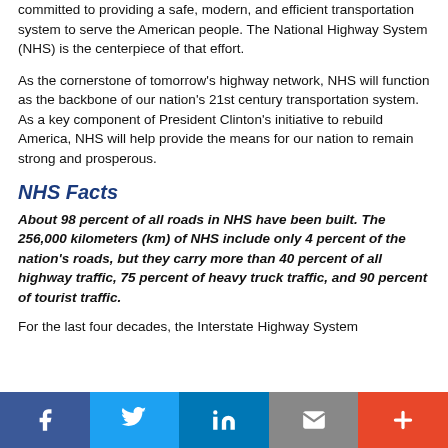committed to providing a safe, modern, and efficient transportation system to serve the American people. The National Highway System (NHS) is the centerpiece of that effort.
As the cornerstone of tomorrow's highway network, NHS will function as the backbone of our nation's 21st century transportation system. As a key component of President Clinton's initiative to rebuild America, NHS will help provide the means for our nation to remain strong and prosperous.
NHS Facts
About 98 percent of all roads in NHS have been built. The 256,000 kilometers (km) of NHS include only 4 percent of the nation's roads, but they carry more than 40 percent of all highway traffic, 75 percent of heavy truck traffic, and 90 percent of tourist traffic.
For the last four decades, the Interstate Highway System
f  [Twitter]  in  [Email]  +